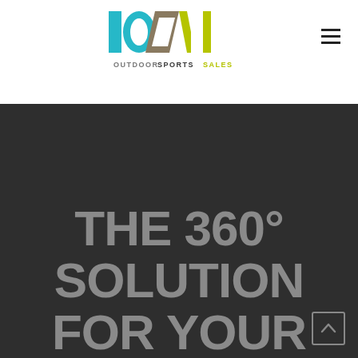[Figure (logo): Outdoor Sports Sales logo with colorful geometric shapes (teal, brown, olive/yellow-green) above the text OUTDOOR SPORTS SALES]
THE 360° SOLUTION FOR YOUR